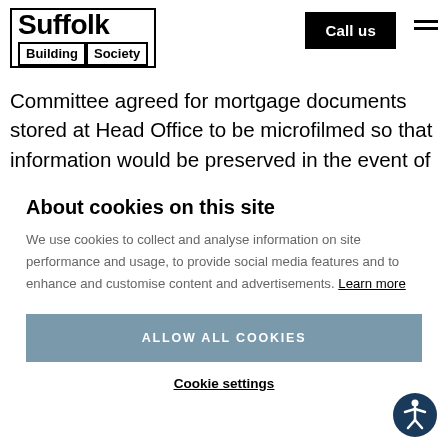[Figure (logo): Suffolk Building Society logo with bordered text boxes]
Microfilmed Records: in 1942 the Committee agreed for mortgage documents stored at Head Office to be microfilmed so that information would be preserved in the event of our offices in Upper Brook Street, Ipswich
About cookies on this site
We use cookies to collect and analyse information on site performance and usage, to provide social media features and to enhance and customise content and advertisements. Learn more
ALLOW ALL COOKIES
Cookie settings